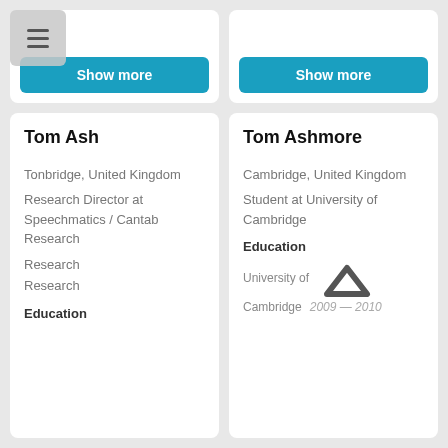[Figure (screenshot): Top left card with a blue 'Show more' button and a hamburger menu icon overlay in the top-left corner]
[Figure (screenshot): Top right card with a blue 'Show more' button]
Tom Ash
Tonbridge, United Kingdom
Research Director at Speechmatics / Cantab Research
Research
Education
Tom Ashmore
Cambridge, United Kingdom
Student at University of Cambridge
Education
University of Cambridge   2009 — 2010